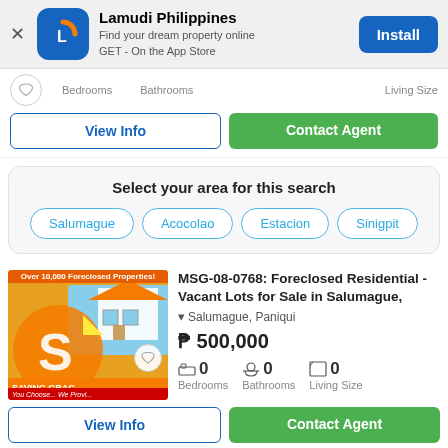[Figure (screenshot): Lamudi Philippines app install banner with logo, text and Install button]
Bedrooms   Bathrooms   Living Size
View Info   Contact Agent
Select your area for this search
Salumague
Acocolao
Estacion
Sinigpit
[Figure (photo): Saving Grace real estate logo image with house graphic and text overlay]
MSG-08-0768: Foreclosed Residential - Vacant Lots for Sale in Salumague,
Salumague, Paniqui
₱ 500,000
0 Bedrooms   0 Bathrooms   0 Living Size
View Info   Contact Agent